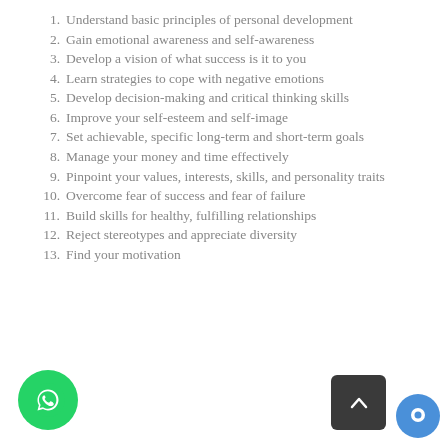1. Understand basic principles of personal development
2. Gain emotional awareness and self-awareness
3. Develop a vision of what success is it to you
4. Learn strategies to cope with negative emotions
5. Develop decision-making and critical thinking skills
6. Improve your self-esteem and self-image
7. Set achievable, specific long-term and short-term goals
8. Manage your money and time effectively
9. Pinpoint your values, interests, skills, and personality traits
10. Overcome fear of success and fear of failure
11. Build skills for healthy, fulfilling relationships
12. Reject stereotypes and appreciate diversity
13. Find your motivation